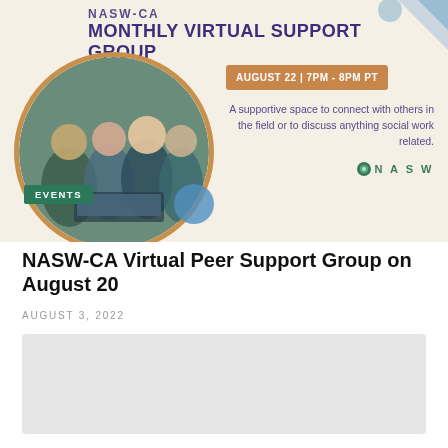NASW-CA
MONTHLY VIRTUAL SUPPORT GROUP
[Figure (photo): Circular photo of a group of young people looking at a laptop together, overlaid with an EVENTS badge and decorative blue circle]
AUGUST 22 | 7PM - 8PM PT
A supportive space to connect with others in the field or to discuss anything social work related.
NASW
NASW-CA Virtual Peer Support Group on August 20
AUGUST 3, 2022
[Figure (other): Gray placeholder content block]